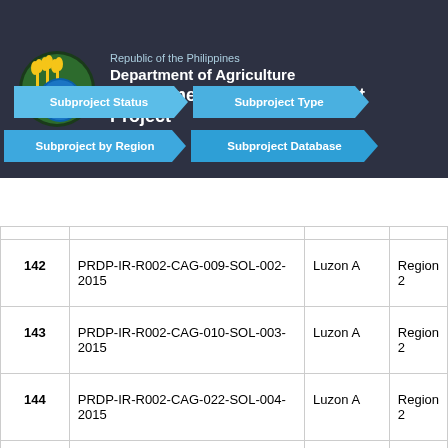Republic of the Philippines
Department of Agriculture
Philippine Rural Development Project
Subproject Status | Subproject Type | Subproject by Region | Subproject Database
| # | Code | Area | Region |
| --- | --- | --- | --- |
| 142 | PRDP-IR-R002-CAG-009-SOL-002-2015 | Luzon A | Region 2 |
| 143 | PRDP-IR-R002-CAG-010-SOL-003-2015 | Luzon A | Region 2 |
| 144 | PRDP-IR-R002-CAG-022-SOL-004-2015 | Luzon A | Region 2 |
| 145 | PRDP-IR-R002-CAG-020-AMU-001-2015 | Luzon A | Region |